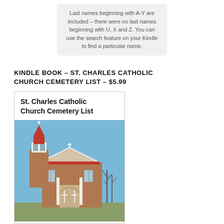Last names beginning with A-Y are included – there were no last names beginning with U, X and Z. You can use the search feature on your Kindle to find a particular name.
KINDLE BOOK – ST. CHARLES CATHOLIC CHURCH CEMETERY LIST – $5.99
[Figure (photo): Book cover image for 'St. Charles Catholic Church Cemetery List' showing the title text at top and a photograph of a brick Catholic church building with a white steeple topped by a cross, red roof, and front entrance with crosses on the doors, under a blue sky.]